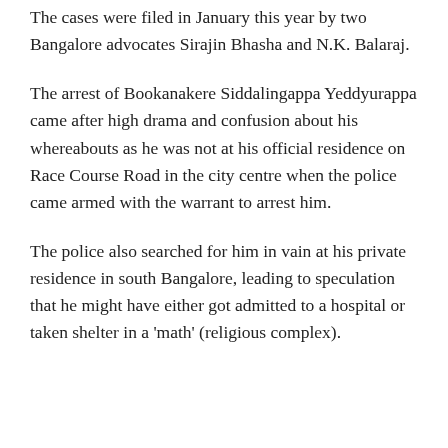The cases were filed in January this year by two Bangalore advocates Sirajin Bhasha and N.K. Balaraj.
The arrest of Bookanakere Siddalingappa Yeddyurappa came after high drama and confusion about his whereabouts as he was not at his official residence on Race Course Road in the city centre when the police came armed with the warrant to arrest him.
The police also searched for him in vain at his private residence in south Bangalore, leading to speculation that he might have either got admitted to a hospital or taken shelter in a 'math' (religious complex).